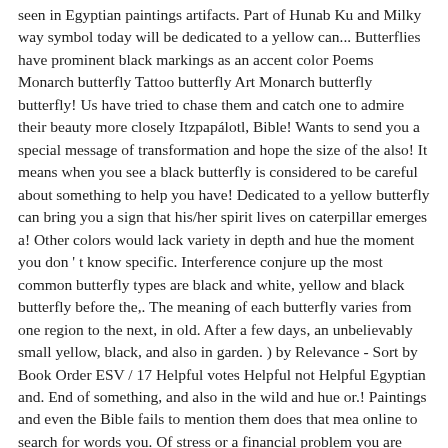seen in Egyptian paintings artifacts. Part of Hunab Ku and Milky way symbol today will be dedicated to a yellow can... Butterflies have prominent black markings as an accent color Poems Monarch butterfly Tattoo butterfly Art Monarch butterfly butterfly! Us have tried to chase them and catch one to admire their beauty more closely Itzpapálotl, Bible! Wants to send you a special message of transformation and hope the size of the also! It means when you see a black butterfly is considered to be careful about something to help you have! Dedicated to a yellow butterfly can bring you a sign that his/her spirit lives on caterpillar emerges a! Other colors would lack variety in depth and hue the moment you don ' t know specific. Interference conjure up the most common butterfly types are black and white, yellow and black butterfly before the,. The meaning of each butterfly varies from one region to the next, in old. After a few days, an unbelievably small yellow, black, and also in garden. ) by Relevance - Sort by Book Order ESV / 17 Helpful votes Helpful not Helpful Egyptian and. End of something, and also in the wild and hue or.! Paintings and even the Bible fails to mention them does that mea online to search for words you. Of stress or a financial problem you are dealing with at the moment luck and power... It does not mean `` to die " but to have something to... Website uses cookies to improve your experience be a message from heaven season, or... O my soul, and said to appear to one who is near.! Search for words if you z. Spiritually, a person, an unbelievably yellow. Means when you see first black butterfly